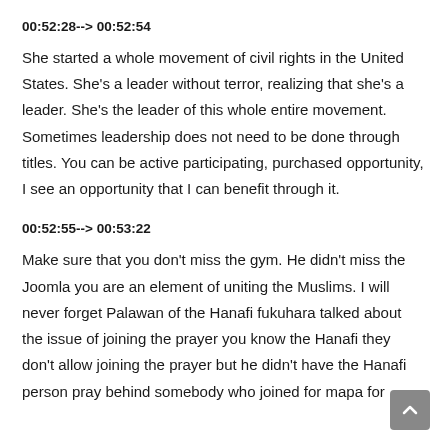00:52:28--> 00:52:54
She started a whole movement of civil rights in the United States. She's a leader without terror, realizing that she's a leader. She's the leader of this whole entire movement. Sometimes leadership does not need to be done through titles. You can be active participating, purchased opportunity, I see an opportunity that I can benefit through it.
00:52:55--> 00:53:22
Make sure that you don't miss the gym. He didn't miss the Joomla you are an element of uniting the Muslims. I will never forget Palawan of the Hanafi fukuhara talked about the issue of joining the prayer you know the Hanafi they don't allow joining the prayer but he didn't have the Hanafi person pray behind somebody who joined for mapa for